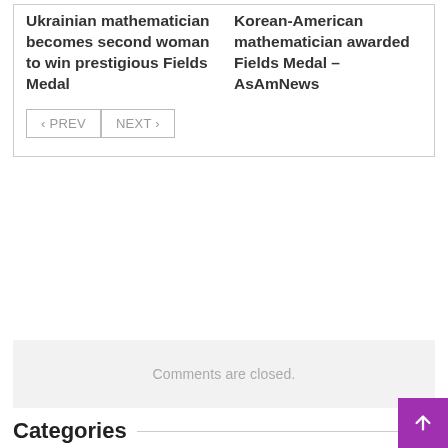Ukrainian mathematician becomes second woman to win prestigious Fields Medal
Korean-American mathematician awarded Fields Medal – AsAmNews
< PREV   NEXT >
Comments are closed.
Categories
American Mathematician
American Practical Navigator
Lissajous Figure
Navigation Author